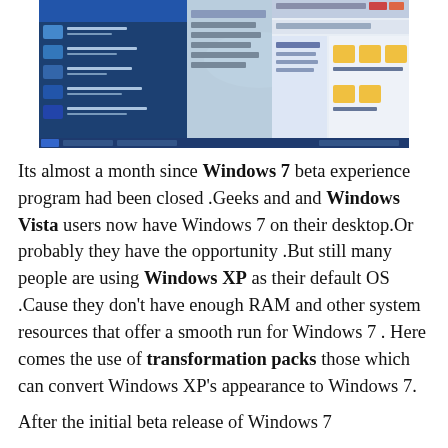[Figure (screenshot): Screenshot of Windows 7 desktop interface showing the Start menu open on the left with a fish wallpaper, and Windows Explorer window on the right showing folder structure with Common Tasks panel.]
Its almost a month since Windows 7 beta experience program had been closed .Geeks and and Windows Vista users now have Windows 7 on their desktop.Or probably they have the opportunity .But still many people are using Windows XP as their default OS .Cause they don't have enough RAM and other system resources that offer a smooth run for Windows 7 . Here comes the use of transformation packs those which can convert Windows XP's appearance to Windows 7.
After the initial beta release of Windows 7